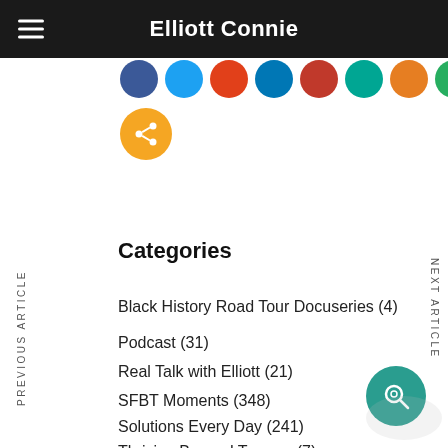Elliott Connie
[Figure (infographic): Row of colorful social media share icon circles (dark blue, light blue, red/orange, blue, red, teal, orange, green) and one orange share button below]
PREVIOUS ARTICLE
NEXT ARTICLE
Categories
Black History Road Tour Docuseries (4)
Podcast (31)
Real Talk with Elliott (21)
SFBT Moments (348)
Solutions Every Day (241)
Thriving Beyond Trauma (7)